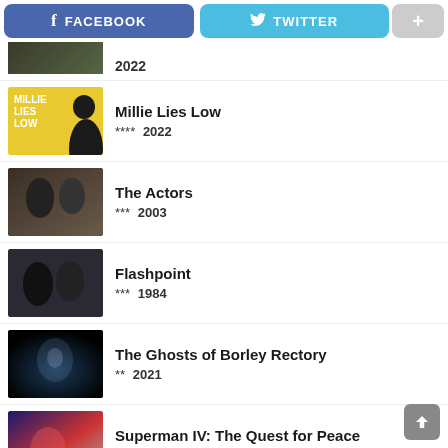[Figure (screenshot): Social sharing bar with Facebook (blue), Twitter (light blue), and plus buttons]
2022 (partially visible, cut off at top)
Millie Lies Low — **** 2022
The Actors — *** 2003
Flashpoint — *** 1984
The Ghosts of Borley Rectory — ** 2021
Superman IV: The Quest for Peace — * 1987
(partially visible bottom item)